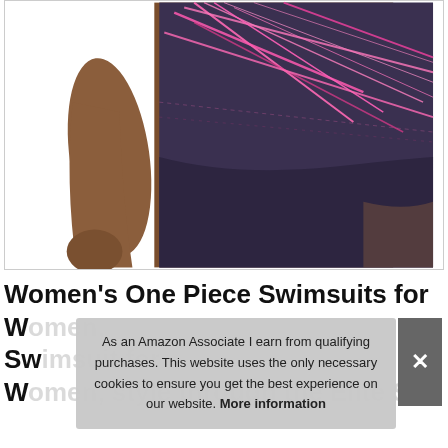[Figure (photo): Product photo of a woman wearing a one-piece swimsuit with dark purple/navy base and bright pink abstract line pattern on the upper portion. Only the torso and upper legs are visible against a white background.]
Women's One Piece Swimsuits for Women, style through the Elite S…
As an Amazon Associate I earn from qualifying purchases. This website uses the only necessary cookies to ensure you get the best experience on our website. More information